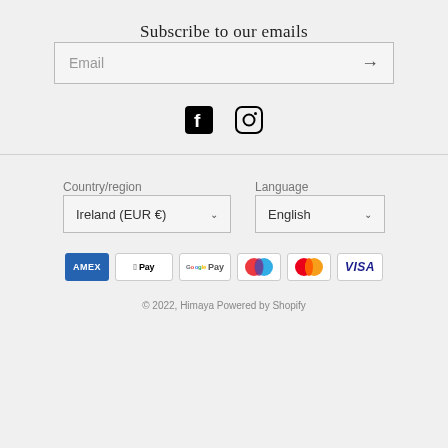Subscribe to our emails
Email
[Figure (illustration): Facebook and Instagram social media icons]
Country/region
Ireland (EUR €)
Language
English
[Figure (illustration): Payment method icons: Amex, Apple Pay, Google Pay, Maestro, Mastercard, Visa]
© 2022, Himaya Powered by Shopify